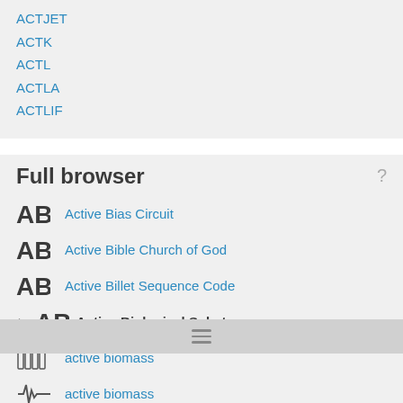ACTJET
ACTK
ACTL
ACTLA
ACTLIF
Full browser
Active Bias Circuit
Active Bible Church of God
Active Billet Sequence Code
Active Biological Substances
active biomass
active biomass
active biometrics
active biometrics